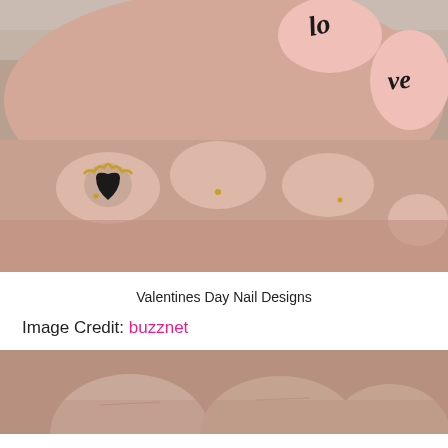[Figure (photo): Close-up photo of hands with nail art: upper hand shows pink nails with 'love' written in black cursive script; lower hand shows nude/blush nails with a black heart adorned with gold studs on one nail and small gold dots on others.]
Valentines Day Nail Designs
Image Credit: buzznet
[Figure (photo): Partial photo of fingers with nail art, bottom portion of page, cropped view showing tips of fingers.]